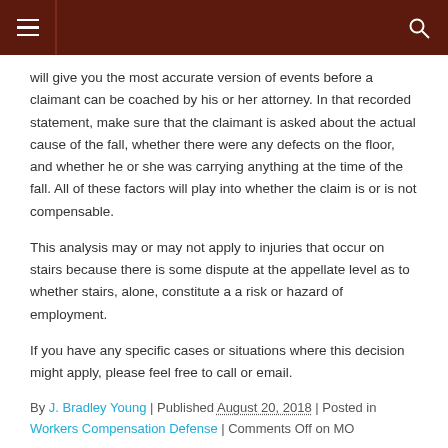Navigation header bar with menu icon and search icon
will give you the most accurate version of events before a claimant can be coached by his or her attorney. In that recorded statement, make sure that the claimant is asked about the actual cause of the fall, whether there were any defects on the floor, and whether he or she was carrying anything at the time of the fall. All of these factors will play into whether the claim is or is not compensable.
This analysis may or may not apply to injuries that occur on stairs because there is some dispute at the appellate level as to whether stairs, alone, constitute a a risk or hazard of employment.
If you have any specific cases or situations where this decision might apply, please feel free to call or email.
By J. Bradley Young | Published August 20, 2018 | Posted in Workers Compensation Defense | Comments Off on MO